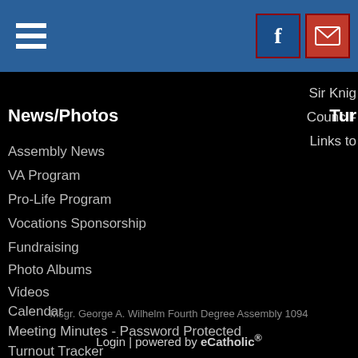[Figure (screenshot): Blue navigation bar with hamburger menu icon on left and Facebook and email icons on right]
Sir Knig
Council-
Links to
News/Photos
Tur
Assembly News
VA Program
Pro-Life Program
Vocations Sponsorship
Fundraising
Photo Albums
Videos
Calendar
Meeting Minutes - Password Protected
Turnout Tracker
Msgr. George A. Wilhelm Fourth Degree Assembly 1094
Login | powered by eCatholic®